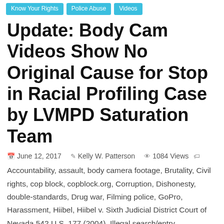Know Your Rights | Police Abuse | Videos
Update: Body Cam Videos Show No Original Cause for Stop in Racial Profiling Case by LVMPD Saturation Team
June 12, 2017   Kelly W. Patterson   1084 Views
Accountability, assault, body camera footage, Brutality, Civil rights, cop block, copblock.org, Corruption, Dishonesty, double-standards, Drug war, Filming police, GoPro, Harassment, Hiibel, Hiibel v. Sixth Judicial District Court of Nevada 542 U.S. 177 (2004), Illegal search/entry, Jaywalking, kelly patterson, las vegas, las vegas metropolitan police department, Las Vegas Review Journal, Lt Connell, lvmpd, LVRJ, Minorities, Nevada, nevada cop block, no victim no crime, NV, Officer Legraves, Officer Unrich, police, police